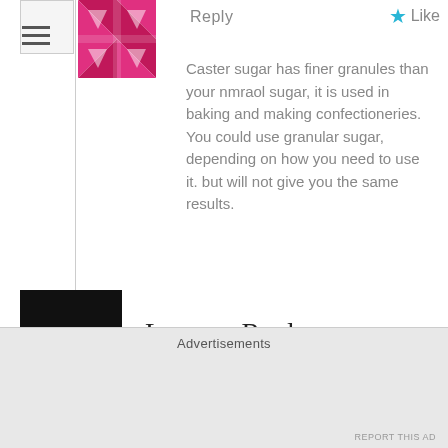[Figure (logo): Pink/maroon geometric patterned logo icon]
Reply
Like
Caster sugar has finer granules than your nmraol sugar, it is used in baking and making confectioneries. You could use granular sugar, depending on how you need to use it. but will not give you the same results.
Leave a Reply
Your email address will not be published. Required fields are marked *
Comment *
Advertisements